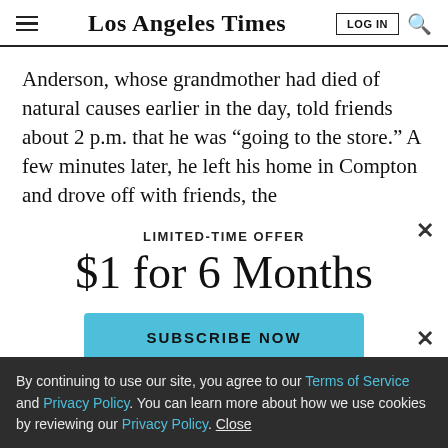Los Angeles Times
Anderson, whose grandmother had died of natural causes earlier in the day, told friends about 2 p.m. that he was “going to the store.” A few minutes later, he left his home in Compton and drove off with friends, the
LIMITED-TIME OFFER
$1 for 6 Months
SUBSCRIBE NOW
By continuing to use our site, you agree to our Terms of Service and Privacy Policy. You can learn more about how we use cookies by reviewing our Privacy Policy. Close